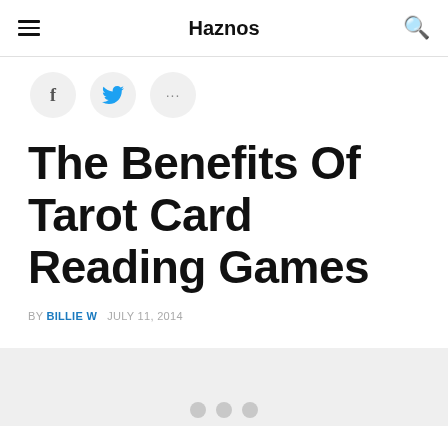Haznos
[Figure (other): Social share buttons: Facebook, Twitter, and more (ellipsis)]
The Benefits Of Tarot Card Reading Games
BY BILLIE W   JULY 11, 2014
[Figure (photo): Large image placeholder with light gray background, with three carousel indicator dots at the bottom]